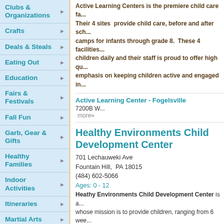Clubs & Organizations
Crafts
Deals & Steals
Eating Out
Education
Fairs & Festivals
Fall Fun
Garb, Gear & Gifts
Healthy Families
Indoor Activities
Itineraries
Martial Arts
Miss Chickadee's Picks
Off The Beaten Path
Outdoor
Active Learning Centers is the premiere child care fa... Their 4 sites provide child care, before and after sch... camps for infants through grade 8. These 4 facilities... children daily and their staff is proud to offer high qu... emphasis on keeping children active and engaged in...
Active Learning Center - Fogelsville
7200B W...
more»
Healthy Environments Child Development Center
701 Lechauweki Ave
Fountain Hill,  PA 18015
(484) 602-5066
Ages: 0 - 12
Heathy Environments Child Development Center is a... whose mission is to provide children, ranging from 6 wee... happy and healthy early education environment, in which... up-to-date childcare techniques and practices.
Two Locations Now Enrolling
Fountain Hill - All Ages (6 weeks through school age)
North Allentown - 6 weeks through Pre-K